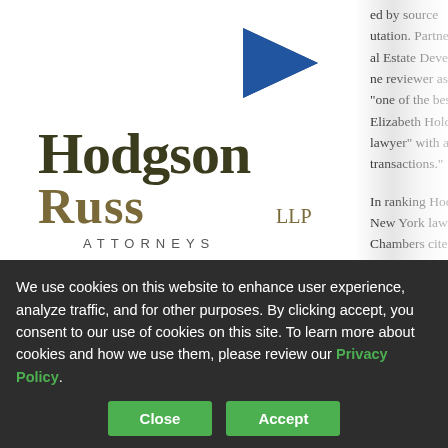[Figure (logo): Hodgson Russ LLP Attorneys logo with blue arrow/triangle graphic and dark olive serif text]
WHY US
PROFESSIONALS
ed by source
utation. Partne
al Estate Deve
ne reviewer as b
"one of the best i
Elizabeth Holden
lawyer" with a "co
transactions."

In ranking Hodgso
New York law firm
Chambers cites th
ability to handle a
We use cookies on this website to enhance user experience, analyze traffic, and for other purposes. By clicking accept, you consent to our use of cookies on this site. To learn more about cookies and how we use them, please review our Privacy Policy.